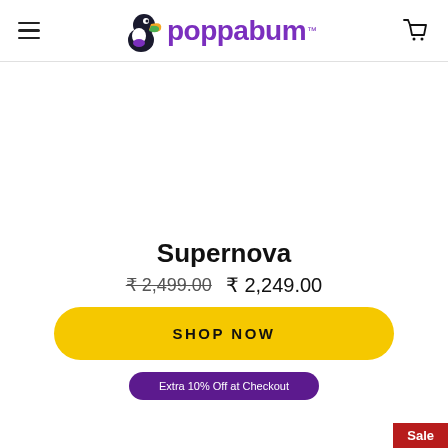poppabum™
[Figure (photo): Product image area (blank/white) for Supernova product]
Supernova
₹ 2,499.00  ₹ 2,249.00
SHOP NOW
Extra 10% Off at Checkout
Sale